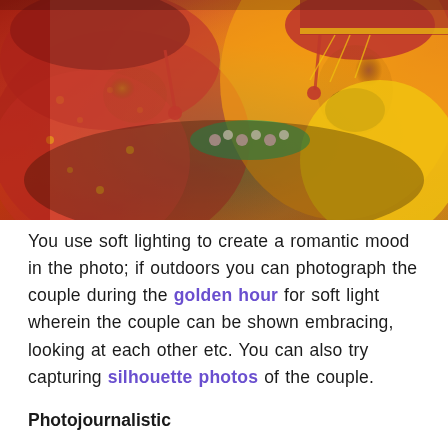[Figure (photo): A close-up photograph of an Indian bride and groom in traditional wedding attire. The bride wears a red and yellow floral saree with a red veil and gold jewelry. The groom wears a red turban with gold and white decorations and a yellow dhoti/shawl, with a flower garland (mala). They are facing each other in an intimate moment during the wedding ceremony.]
You use soft lighting to create a romantic mood in the photo; if outdoors you can photograph the couple during the golden hour for soft light wherein the couple can be shown embracing, looking at each other etc. You can also try capturing silhouette photos of the couple.
Photojournalistic